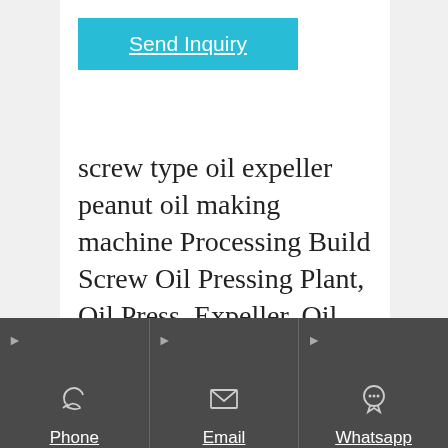Send Inquiry
screw type oil expeller peanut oil making machine Processing Build Screw Oil Pressing Plant, Oil Press, Expeller, Oil Mill Machine
High quality oil press, oil mill machine, expeller for sale. Help
Phone  Email  Whatsapp